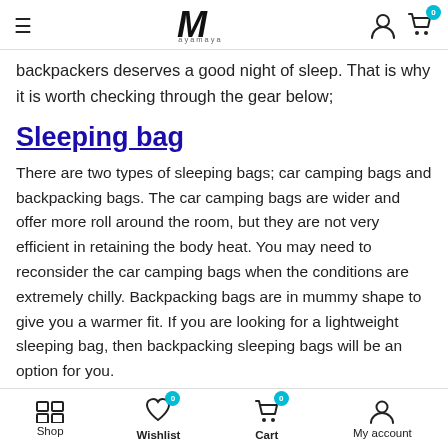ayamaya — navigation header with hamburger menu, logo, user and cart icons
backpackers deserves a good night of sleep. That is why it is worth checking through the gear below;
Sleeping bag
There are two types of sleeping bags; car camping bags and backpacking bags. The car camping bags are wider and offer more roll around the room, but they are not very efficient in retaining the body heat. You may need to reconsider the car camping bags when the conditions are extremely chilly. Backpacking bags are in mummy shape to give you a warmer fit. If you are looking for a lightweight sleeping bag, then backpacking sleeping bags will be an option for you.
Shop | Wishlist (0) | Cart (0) | My account